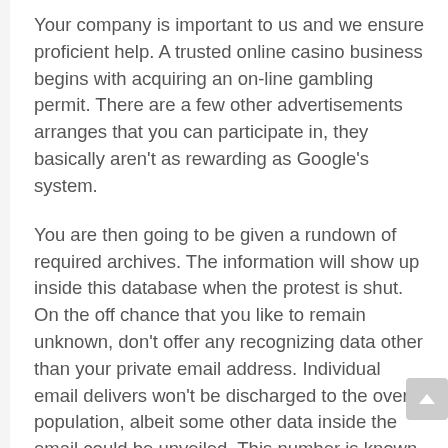Your company is important to us and we ensure proficient help. A trusted online casino business begins with acquiring an on-line gambling permit. There are a few other advertisements arranges that you can participate in, they basically aren't as rewarding as Google's system.
You are then going to be given a rundown of required archives. The information will show up inside this database when the protest is shut. On the off chance that you like to remain unknown, don't offer any recognizing data other than your private email address. Individual email delivers won't be discharged to the overall population, albeit some other data inside the email could be unveiled. This number is known as the protest number.
There are three essential ways for a web-based gaming foundation to show some sort of certification. Beginning a company can likewise be viewed as a sort